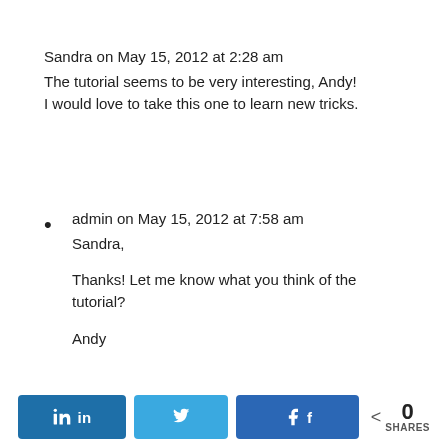Sandra on May 15, 2012 at 2:28 am
The tutorial seems to be very interesting, Andy!
I would love to take this one to learn new tricks.
admin on May 15, 2012 at 7:58 am
Sandra,

Thanks! Let me know what you think of the tutorial?

Andy